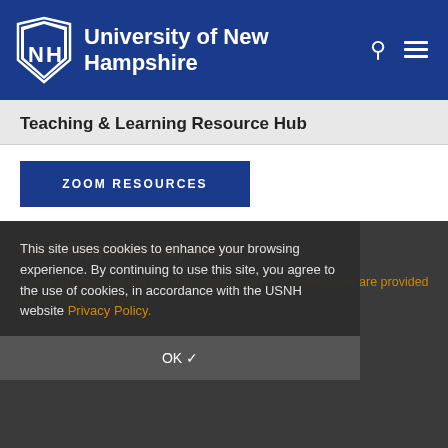University of New Hampshire
Teaching & Learning Resource Hub
ZOOM RESOURCES
This site uses cookies to enhance your browsing experience. By continuing to use this site, you agree to the use of cookies, in accordance with the USNH website Privacy Policy.
OK ✓
Not Supported by UNH
These applications are not supported by UNH, but resources are provided for faculty convenience.
Jamboard
Google Jamboard is an interactive whiteboard application.